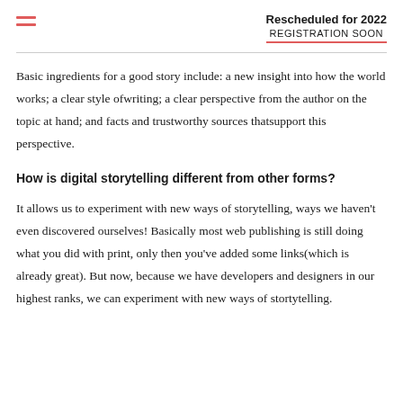Rescheduled for 2022 REGISTRATION SOON
Basic ingredients for a good story include: a new insight into how the world works; a clear style ofwriting; a clear perspective from the author on the topic at hand; and facts and trustworthy sources thatsupport this perspective.
How is digital storytelling different from other forms?
It allows us to experiment with new ways of storytelling, ways we haven't even discovered ourselves! Basically most web publishing is still doing what you did with print, only then you've added some links(which is already great). But now, because we have developers and designers in our highest ranks, we can experiment with new ways of stortytelling.